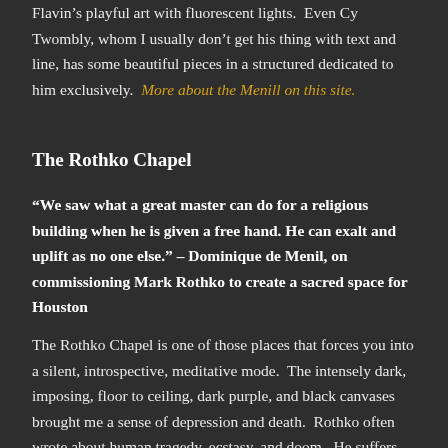…the rest of the exhibits were illuminating ends, including Dan Flavin's playful art with fluorescent lights.  Even Cy Twombly, whom I usually don't get his thing with text and line, has some beautiful pieces in a structured dedicated to him exclusively.  More about the Menill on this site.
The Rothko Chapel
“We saw what a great master can do for a religious building when he is given a free hand. He can exalt and uplift as no one else.” – Dominique de Menil, on commissioning Mark Rothko to create a sacred space for Houston
The Rothko Chapel is one of those places that forces you into a silent, introspective, meditative mode.  The intensely dark, imposing, floor to ceiling, dark purple, and black canvases brought me a sense of depression and death.  Rothko often wrote about human tragedy, ecstasy, and doom.  He suffers…